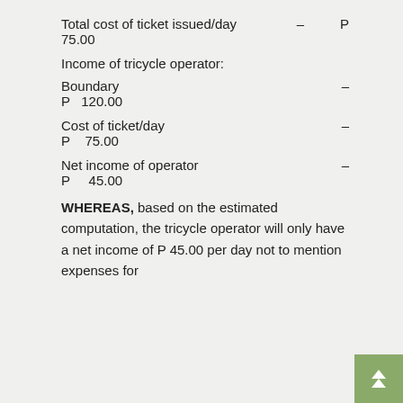Total cost of ticket issued/day – P 75.00
Income of tricycle operator:
Boundary – P 120.00
Cost of ticket/day – P 75.00
Net income of operator – P 45.00
WHEREAS, based on the estimated computation, the tricycle operator will only have a net income of P 45.00 per day not to mention expenses for